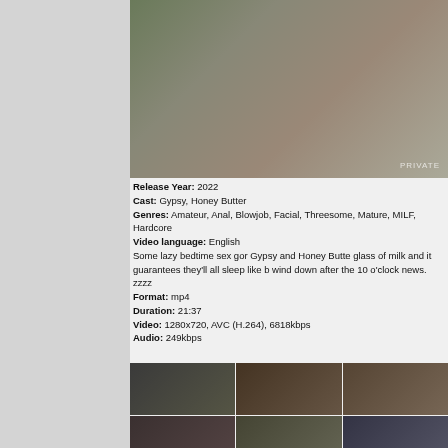[Figure (photo): Main video thumbnail image]
Release Year: 2022
Cast: Gypsy, Honey Butter
Genres: Amateur, Anal, Blowjob, Facial, Threesome, Mature, MILF, Hardcore
Video language: English
Some lazy bedtime sex gor Gypsy and Honey Butter...a glass of milk and it guarantees they'll all sleep like b... wind down after the 10 o'clock news. zzzz
Format: mp4
Duration: 21:37
Video: 1280x720, AVC (H.264), 6818kbps
Audio: 249kbps
[Figure (photo): Thumbnail strip row 1 - 3 thumbnails]
[Figure (photo): Thumbnail strip row 2 - 3 thumbnails]